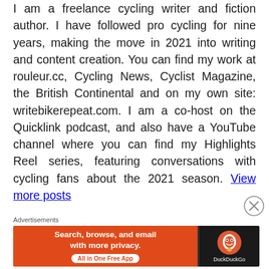I am a freelance cycling writer and fiction author. I have followed pro cycling for nine years, making the move in 2021 into writing and content creation. You can find my work at rouleur.cc, Cycling News, Cyclist Magazine, the British Continental and on my own site: writebikerepeat.com. I am a co-host on the Quicklink podcast, and also have a YouTube channel where you can find my Highlights Reel series, featuring conversations with cycling fans about the 2021 season. View more posts
[Figure (other): Close (X) button for dismissing advertisement]
Advertisements
[Figure (other): DuckDuckGo advertisement banner: 'Search, browse, and email with more privacy. All in One Free App' with DuckDuckGo logo on dark background]